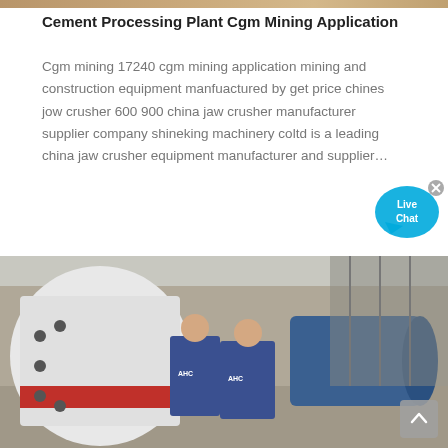[Figure (photo): Thin banner/strip image at top of page, brownish tone]
Cement Processing Plant Cgm Mining Application
Cgm mining 17240 cgm mining application mining and construction equipment manfuactured by get price chines jow crusher 600 900 china jaw crusher manufacturer supplier company shineking machinery coltd is a leading china jaw crusher equipment manufacturer and supplier…
[Figure (illustration): Live Chat bubble widget in blue/cyan with 'Live Chat' text and a close X button]
[Figure (photo): Photo of two workers in blue uniforms working on industrial mining machinery, including a large red and white mill and a blue electric motor, outdoors]